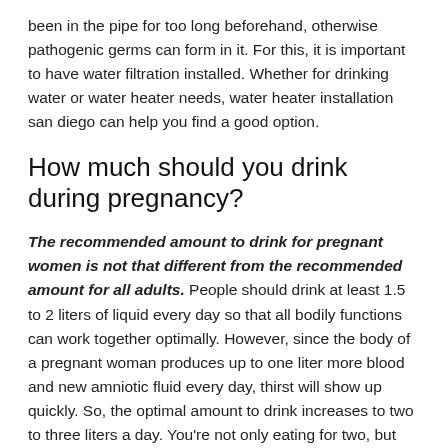been in the pipe for too long beforehand, otherwise pathogenic germs can form in it. For this, it is important to have water filtration installed. Whether for drinking water or water heater needs, water heater installation san diego can help you find a good option.
How much should you drink during pregnancy?
The recommended amount to drink for pregnant women is not that different from the recommended amount for all adults. People should drink at least 1.5 to 2 liters of liquid every day so that all bodily functions can work together optimally. However, since the body of a pregnant woman produces up to one liter more blood and new amniotic fluid every day, thirst will show up quickly. So, the optimal amount to drink increases to two to three liters a day. You’re not only eating for two, but you’re also drinking for your baby.
Why do you have to drink so much during pregnancy?